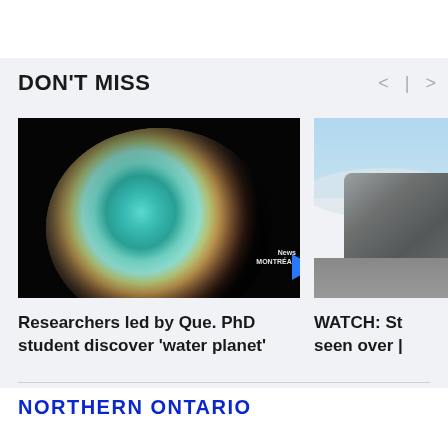DON'T MISS
[Figure (screenshot): Thumbnail of an illustrated water planet (exoplanet) with teal-blue and brown colors against a black starfield background, with a play button triangle overlay and a News watermark in the corner.]
Researchers led by Que. PhD student discover 'water planet'
[Figure (photo): Partial thumbnail of a large rocky formation (mountain or rock of Gibraltar) with a blue sky and cloud visible, partially cropped on the right.]
WATCH: St seen over |
NORTHERN ONTARIO